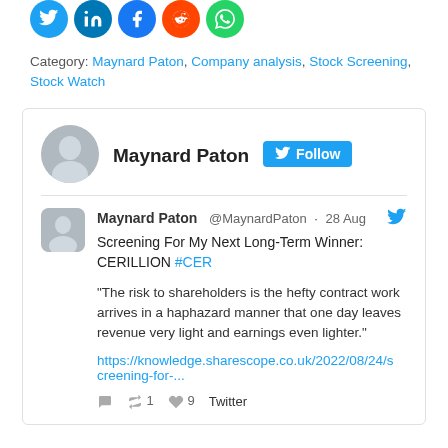[Figure (other): Row of social media share icon circles: Twitter, LinkedIn, Facebook, Reddit, WhatsApp]
Category: Maynard Paton, Company analysis, Stock Screening, Stock Watch
[Figure (screenshot): Embedded tweet card from Maynard Paton (@MaynardPaton) dated 28 Aug: 'Screening For My Next Long-Term Winner: CERILLION #CER' with quote text and link. Includes Follow button, Twitter bird logo, reply/retweet/like counts, and Twitter attribution.]